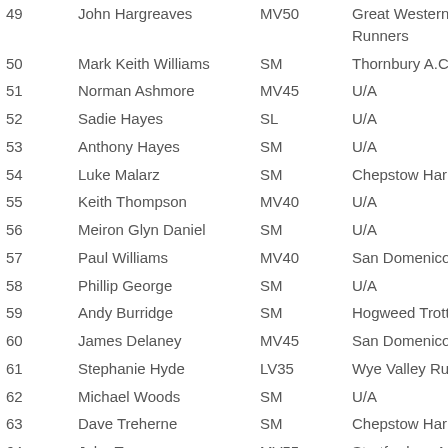| # | Name | Category | Club |
| --- | --- | --- | --- |
| 49 | John Hargreaves | MV50 | Great Western Runners |
| 50 | Mark Keith Williams | SM | Thornbury A.C. |
| 51 | Norman Ashmore | MV45 | U/A |
| 52 | Sadie Hayes | SL | U/A |
| 53 | Anthony Hayes | SM | U/A |
| 54 | Luke Malarz | SM | Chepstow Harri |
| 55 | Keith Thompson | MV40 | U/A |
| 56 | Meiron Glyn Daniel | SM | U/A |
| 57 | Paul Williams | MV40 | San Domenico |
| 58 | Phillip George | SM | U/A |
| 59 | Andy Burridge | SM | Hogweed Trotte |
| 60 | James Delaney | MV45 | San Domenico |
| 61 | Stephanie Hyde | LV35 | Wye Valley Run |
| 62 | Michael Woods | SM | U/A |
| 63 | Dave Treherne | SM | Chepstow Harri |
| 64 | John Turner | MV55 | Stratford-on-Av A.C. |